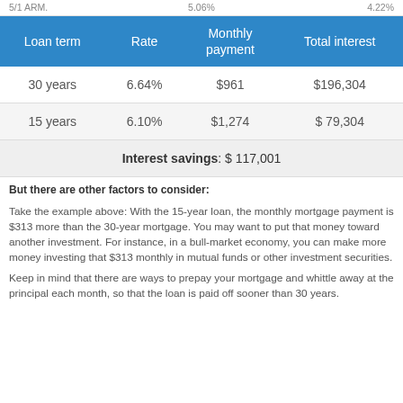5/1 ARM.   5.06%   4.22%
| Loan term | Rate | Monthly payment | Total interest |
| --- | --- | --- | --- |
| 30 years | 6.64% | $961 | $196,304 |
| 15 years | 6.10% | $1,274 | $ 79,304 |
| Interest savings: $ 117,001 |  |  |  |
But there are other factors to consider:
Take the example above: With the 15-year loan, the monthly mortgage payment is $313 more than the 30-year mortgage. You may want to put that money toward another investment. For instance, in a bull-market economy, you can make more money investing that $313 monthly in mutual funds or other investment securities.
Keep in mind that there are ways to prepay your mortgage and whittle away at the principal each month, so that the loan is paid off sooner than 30 years.